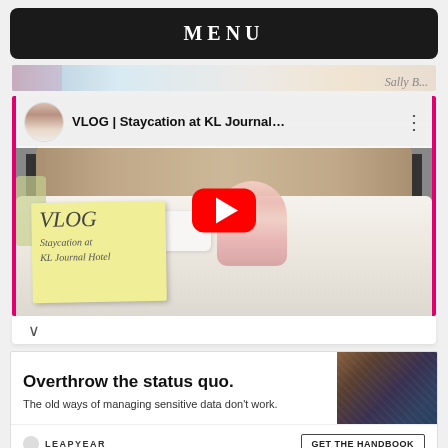MENU
[Figure (photo): Partial top strip showing a cropped photo of a person with cursive text 'Sally B...' on the right]
[Figure (screenshot): YouTube video thumbnail for 'VLOG | Staycation at KL Journal...' showing a hotel room with a person lying on a white bed, a yellow sticky note with 'VLOG Staycation at KL Journal Hotel' written in cursive, and a red YouTube play button overlay]
[Figure (screenshot): Advertisement banner: 'Overthrow the status quo. The old ways of managing sensitive data don't work.' with LEAPYEAR branding and 'GET THE HANDBOOK' CTA button]